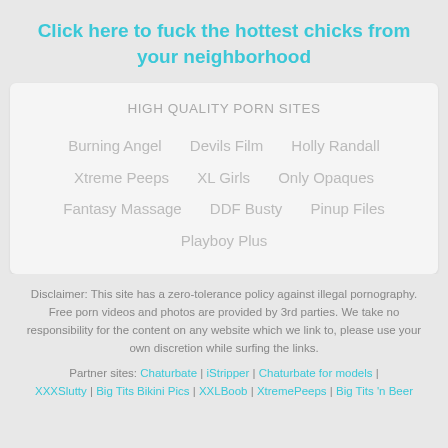Click here to fuck the hottest chicks from your neighborhood
HIGH QUALITY PORN SITES
Burning Angel
Devils Film
Holly Randall
Xtreme Peeps
XL Girls
Only Opaques
Fantasy Massage
DDF Busty
Pinup Files
Playboy Plus
Disclaimer: This site has a zero-tolerance policy against illegal pornography. Free porn videos and photos are provided by 3rd parties. We take no responsibility for the content on any website which we link to, please use your own discretion while surfing the links.
Partner sites: Chaturbate | iStripper | Chaturbate for models | XXXSlutty | Big Tits Bikini Pics | XXLBoob | XtremePeeps | Big Tits 'n Beer